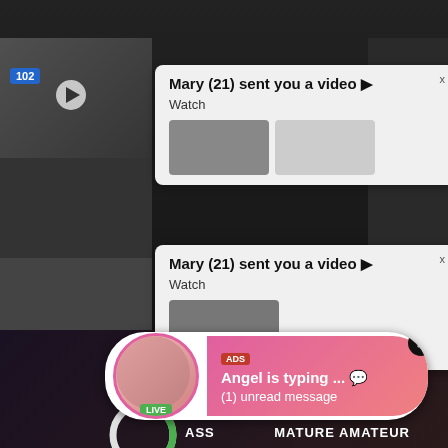COLLEGE
BRAZIL
Mary (21) sent you a video ▶
Watch
Mary (21) sent you a video ▶
Watch
1Missed Call from Eliza
0:00
3:23
102
10596
ADS
Angel is typing ... 💬
(1) unread message
LIVE
ASS
MATURE AMATEUR